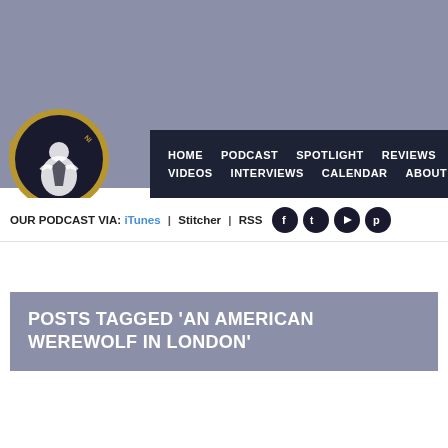[Figure (logo): The MacGuffin podcast logo – circular badge with illustrated figure in tuxedo]
HOME  PODCAST  SPOTLIGHT  REVIEWS  VIDEOS  INTERVIEWS  CALENDAR  ABOUT
OUR PODCAST VIA: iTunes | Stitcher | RSS
POSTS TAGGED 'AN AMERICAN WEREWOLF IN LONDON'